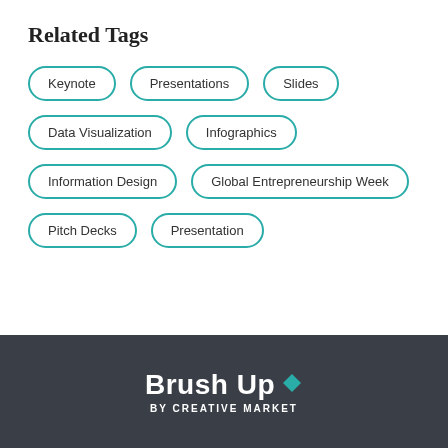Related Tags
Keynote
Presentations
Slides
Data Visualization
Infographics
Information Design
Global Entrepreneurship Week
Pitch Decks
Presentation
Brush Up BY CREATIVE MARKET